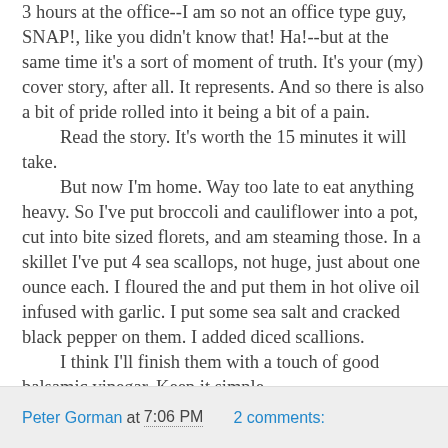3 hours at the office--I am so not an office type guy, SNAP!, like you didn't know that! Ha!--but at the same time it's a sort of moment of truth. It's your (my) cover story, after all. It represents. And so there is also a bit of pride rolled into it being a bit of a pain.
	Read the story. It's worth the 15 minutes it will take.
	But now I'm home. Way too late to eat anything heavy. So I've put broccoli and cauliflower into a pot, cut into bite sized florets, and am steaming those. In a skillet I've put 4 sea scallops, not huge, just about one ounce each. I floured the and put them in hot olive oil infused with garlic. I put some sea salt and cracked black pepper on them. I added diced scallions.
	I think I'll finish them with a touch of good balsamic vinegar. Keep it simple.
	So dinner is going to be four sea scallops with steamed broccoli and cauliflower that will then be sauteed in the scallop pan drippings.
	Gonna be a winner for sure.
Peter Gorman at 7:06 PM  2 comments: